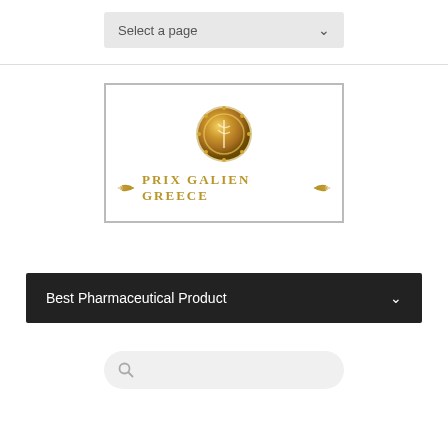Select a page
[Figure (logo): Prix Galien Greece logo with gold medal coin above text 'PRIX GALIEN GREECE' with decorative wing motifs on either side, all in gold color, inside a rectangular border]
Best Pharmaceutical Product
Search